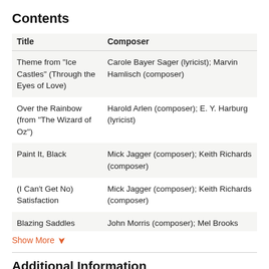Contents
| Title | Composer |
| --- | --- |
| Theme from "Ice Castles" (Through the Eyes of Love) | Carole Bayer Sager (lyricist); Marvin Hamlisch (composer) |
| Over the Rainbow (from "The Wizard of Oz") | Harold Arlen (composer); E. Y. Harburg (lyricist) |
| Paint It, Black | Mick Jagger (composer); Keith Richards (composer) |
| (I Can't Get No) Satisfaction | Mick Jagger (composer); Keith Richards (composer) |
| Blazing Saddles | John Morris (composer); Mel Brooks |
Show More ▾
Additional Information